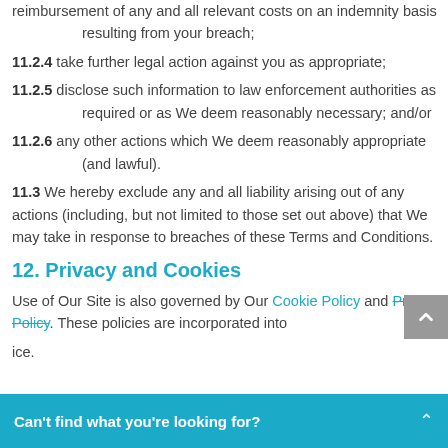reimbursement of any and all relevant costs on an indemnity basis resulting from your breach;
11.2.4 take further legal action against you as appropriate;
11.2.5 disclose such information to law enforcement authorities as required or as We deem reasonably necessary; and/or
11.2.6 any other actions which We deem reasonably appropriate (and lawful).
11.3 We hereby exclude any and all liability arising out of any actions (including, but not limited to those set out above) that We may take in response to breaches of these Terms and Conditions.
12. Privacy and Cookies
Use of Our Site is also governed by Our Cookie Policy and Privacy Policy. These policies are incorporated into